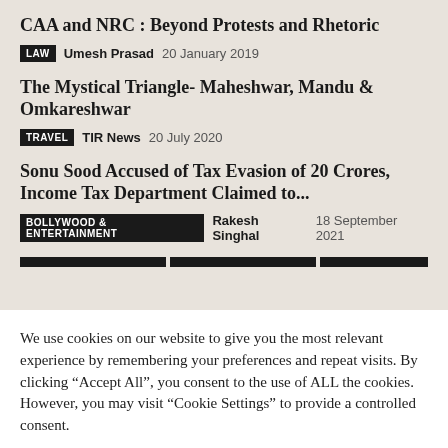CAA and NRC : Beyond Protests and Rhetoric
LAW  Umesh Prasad  20 January 2019
The Mystical Triangle- Maheshwar, Mandu & Omkareshwar
TRAVEL  TIR News  20 July 2020
Sonu Sood Accused of Tax Evasion of 20 Crores, Income Tax Department Claimed to...
BOLLYWOOD & ENTERTAINMENT  Rakesh Singhal  18 September 2021
We use cookies on our website to give you the most relevant experience by remembering your preferences and repeat visits. By clicking “Accept All”, you consent to the use of ALL the cookies. However, you may visit “Cookie Settings” to provide a controlled consent.
Cookie Settings  Accept All